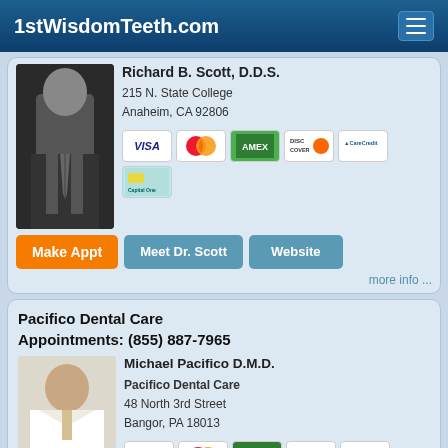1stWisdomTeeth.com
Richard B. Scott, D.D.S.
215 N. State College
Anaheim, CA 92806
[Figure (photo): Photo of Richard B. Scott in dark suit]
[Figure (infographic): Payment method icons: VISA, MasterCard, American Express, Discover, CareCredit, Capital One]
Make Appt  Meet Dr. Scott  Website
more info ...
Pacifico Dental Care
Appointments: (855) 887-7965
Michael Pacifico D.M.D.
Pacifico Dental Care
48 North 3rd Street
Bangor, PA 18013
[Figure (photo): Photo of Michael Pacifico in white lab coat]
[Figure (infographic): Payment method icons: VISA, MasterCard, American Express, Discover, LendingClub, CareCredit]